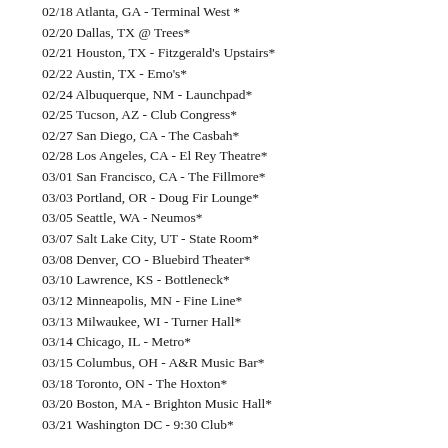02/18 Atlanta, GA - Terminal West *
02/20 Dallas, TX @ Trees*
02/21 Houston, TX - Fitzgerald's Upstairs*
02/22 Austin, TX - Emo's*
02/24 Albuquerque, NM - Launchpad*
02/25 Tucson, AZ - Club Congress*
02/27 San Diego, CA - The Casbah*
02/28 Los Angeles, CA - El Rey Theatre*
03/01 San Francisco, CA - The Fillmore*
03/03 Portland, OR - Doug Fir Lounge*
03/05 Seattle, WA - Neumos*
03/07 Salt Lake City, UT - State Room*
03/08 Denver, CO - Bluebird Theater*
03/10 Lawrence, KS - Bottleneck*
03/12 Minneapolis, MN - Fine Line*
03/13 Milwaukee, WI - Turner Hall*
03/14 Chicago, IL - Metro*
03/15 Columbus, OH - A&R Music Bar*
03/18 Toronto, ON - The Hoxton*
03/20 Boston, MA - Brighton Music Hall*
03/21 Washington DC - 9:30 Club*